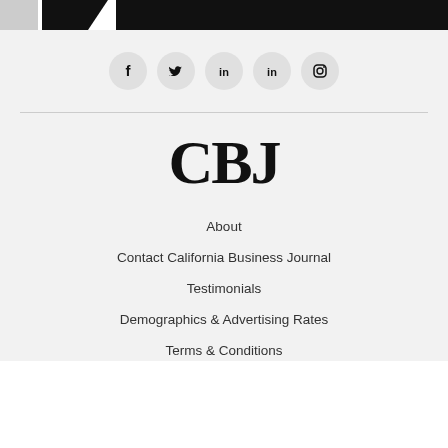[Figure (logo): Top banner with gray block, black chevron/arrow shape, and black rectangle — partial logo/header banner]
[Figure (infographic): Five social media icon circles: Facebook (f), Twitter (bird), LinkedIn (in), LinkedIn (in), Instagram (camera)]
[Figure (logo): CBJ logo in large bold serif font]
About
Contact California Business Journal
Testimonials
Demographics & Advertising Rates
Terms & Conditions